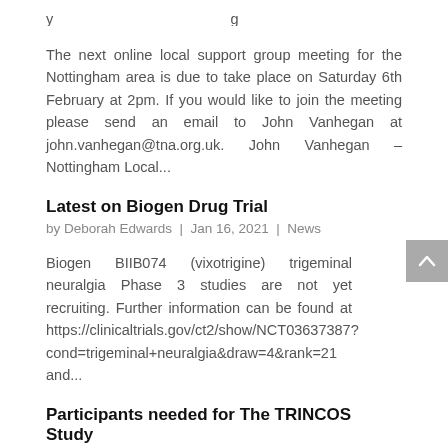The next online local support group meeting for the Nottingham area is due to take place on Saturday 6th February at 2pm. If you would like to join the meeting please send an email to John Vanhegan at john.vanhegan@tna.org.uk. John Vanhegan – Nottingham Local...
Latest on Biogen Drug Trial
by Deborah Edwards | Jan 16, 2021 | News
Biogen BIIB074 (vixotrigine) trigeminal neuralgia Phase 3 studies are not yet recruiting. Further information can be found at https://clinicaltrials.gov/ct2/show/NCT03637387?cond=trigeminal+neuralgia&draw=4&rank=21 and...
Participants needed for The TRINCOS Study